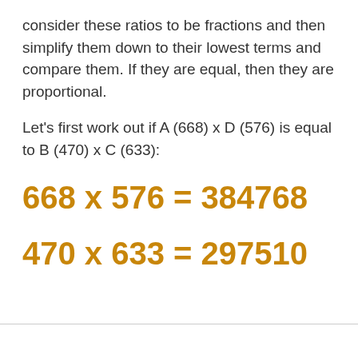consider these ratios to be fractions and then simplify them down to their lowest terms and compare them. If they are equal, then they are proportional.
Let's first work out if A (668) x D (576) is equal to B (470) x C (633):